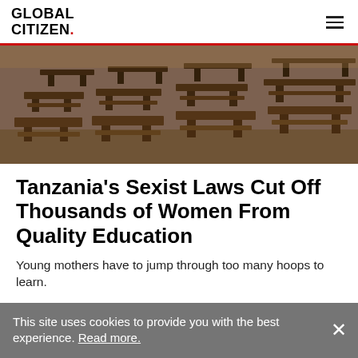GLOBAL CITIZEN.
[Figure (photo): Rows of empty wooden school desks and benches in a classroom, photographed from an angle showing multiple rows receding into the background.]
Tanzania's Sexist Laws Cut Off Thousands of Women From Quality Education
Young mothers have to jump through too many hoops to learn.
BY LEAH RODRIGUEZ
6 MIN READ
This site uses cookies to provide you with the best experience. Read more.